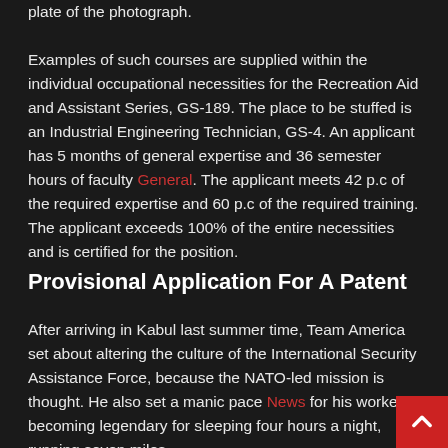plate of the photograph. Examples of such courses are supplied within the individual occupational necessities for the Recreation Aid and Assistant Series, GS-189. The place to be stuffed is an Industrial Engineering Technician, GS-4. An applicant has 5 months of general expertise and 36 semester hours of faculty General. The applicant meets 42 p.c of the required expertise and 60 p.c of the required training. The applicant exceeds 100% of the entire necessities and is certified for the position.
Provisional Application For A Patent
After arriving in Kabul last summer time, Team America set about altering the culture of the International Security Assistance Force, because the NATO-led mission is thought. He also set a manic pace News for his workers, becoming legendary for sleeping four hours a night, running seven miles